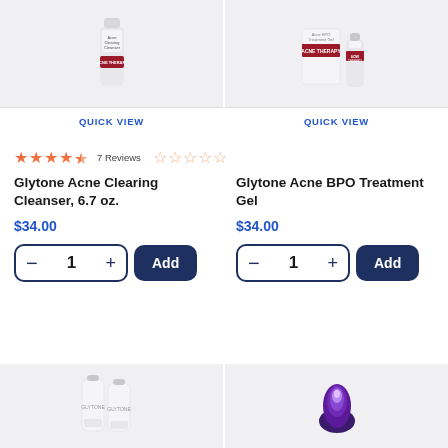[Figure (photo): Glytone Acne Clearing Cleanser bottle on light grey background with QUICK VIEW button]
[Figure (photo): Glytone Acne BPO Treatment Gel product on light grey background with QUICK VIEW button]
★★★★½  7 Reviews  ☆☆☆☆☆
Glytone Acne Clearing Cleanser, 6.7 oz.
Glytone Acne BPO Treatment Gel
$34.00
$34.00
− 1 + Add
− 1 + Add
[Figure (photo): Glytone cream tube products on light grey background]
[Figure (photo): Purple LED light therapy device on light grey background]